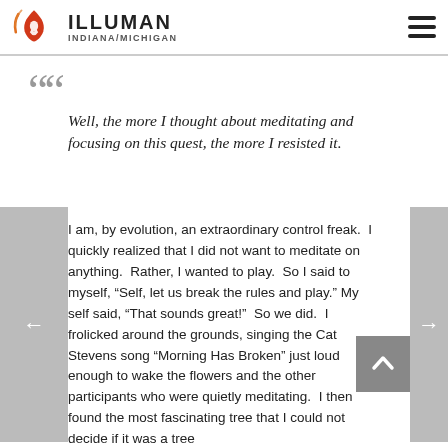ILLUMAN INDIANA/MICHIGAN
““
Well, the more I thought about meditating and focusing on this quest, the more I resisted it.
I am, by evolution, an extraordinary control freak.  I quickly realized that I did not want to meditate on anything.  Rather, I wanted to play.  So I said to myself, “Self, let us break the rules and play.” My self said, “That sounds great!”  So we did.  I frolicked around the grounds, singing the Cat Stevens song “Morning Has Broken” just loud enough to wake the flowers and the other participants who were quietly meditating.  I then found the most fascinating tree that I could not decide if it was a tree